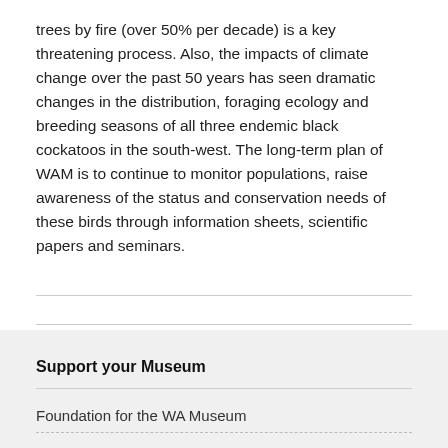trees by fire (over 50% per decade) is a key threatening process. Also, the impacts of climate change over the past 50 years has seen dramatic changes in the distribution, foraging ecology and breeding seasons of all three endemic black cockatoos in the south-west. The long-term plan of WAM is to continue to monitor populations, raise awareness of the status and conservation needs of these birds through information sheets, scientific papers and seminars.
Support your Museum
Foundation for the WA Museum